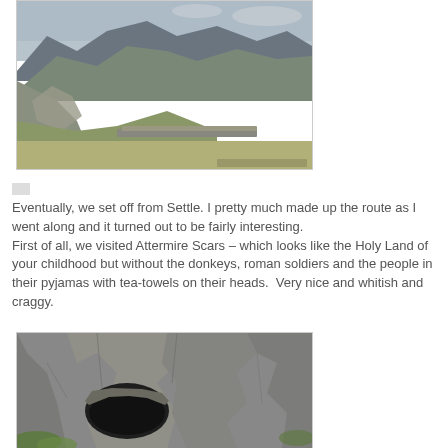[Figure (photo): Landscape photo of rocky hills and mountains with green grassland in foreground and a dry stone wall, overcast sky, Attermire Scars area near Settle]
Eventually, we set off from Settle. I pretty much made up the route as I went along and it turned out to be fairly interesting.
First of all, we visited Attermire Scars – which looks like the Holy Land of your childhood but without the donkeys, roman soldiers and the people in their pyjamas with tea-towels on their heads.  Very nice and whitish and craggy.
[Figure (photo): Close-up photo of limestone cave entrance in rocky cliff face with some green vegetation, Attermire Scars area]